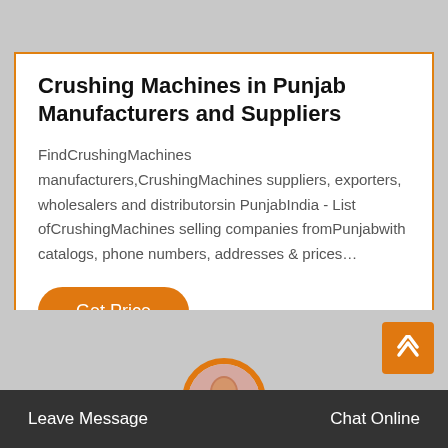Crushing Machines in Punjab Manufacturers and Suppliers
FindCrushingMachines manufacturers,CrushingMachines suppliers, exporters, wholesalers and distributorsin PunjabIndia - List ofCrushingMachines selling companies fromPunjabwith catalogs, phone numbers, addresses & prices…
Get Price
Leave Message   Chat Online